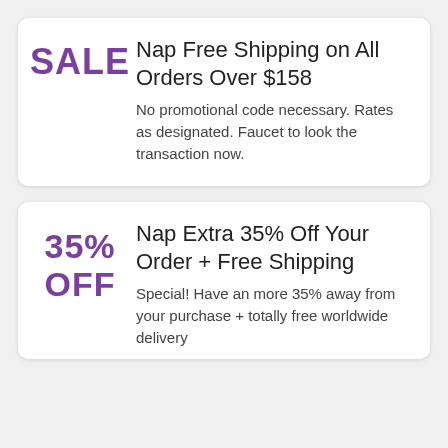Nap Free Shipping on All Orders Over $158
No promotional code necessary. Rates as designated. Faucet to look the transaction now.
Nap Extra 35% Off Your Order + Free Shipping
Special! Have an more 35% away from your purchase + totally free worldwide delivery